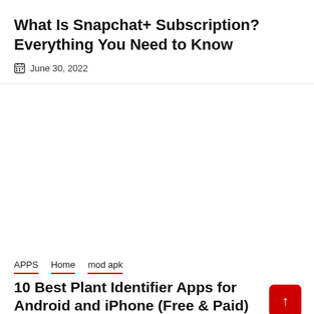What Is Snapchat+ Subscription? Everything You Need to Know
June 30, 2022
APPS  Home  mod apk
10 Best Plant Identifier Apps for Android and iPhone (Free & Paid)